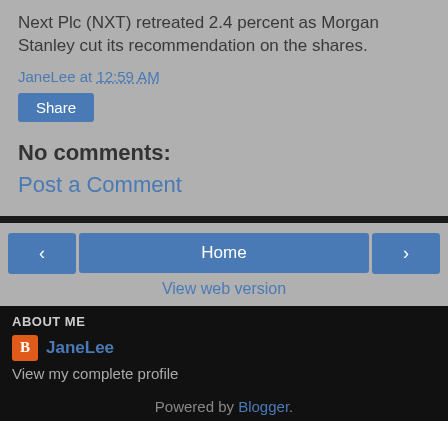Next Plc (NXT) retreated 2.4 percent as Morgan Stanley cut its recommendation on the shares.
JaneLee at 12:59 AM
Share
No comments:
Post a Comment
Home
View web version
ABOUT ME
JaneLee
View my complete profile
Powered by Blogger.